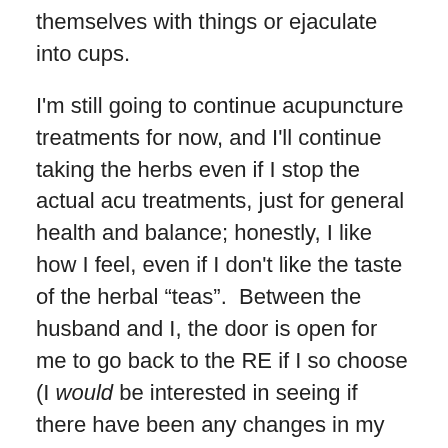themselves with things or ejaculate into cups.
I'm still going to continue acupuncture treatments for now, and I'll continue taking the herbs even if I stop the actual acu treatments, just for general health and balance; honestly, I like how I feel, even if I don't like the taste of the herbal “teas”.  Between the husband and I, the door is open for me to go back to the RE if I so choose (I would be interested in seeing if there have been any changes in my blood work in a year’s time), or maybe for a possible medicated cycle one day, but likely nothing more than that.
I'll also keep working to maintain the healthy habits I've gained through TCM, but I will likely stop temping someday soon.
I KNOW.  Don't freak out, or I might freak out and lose my resolve on that little gigantic decision.